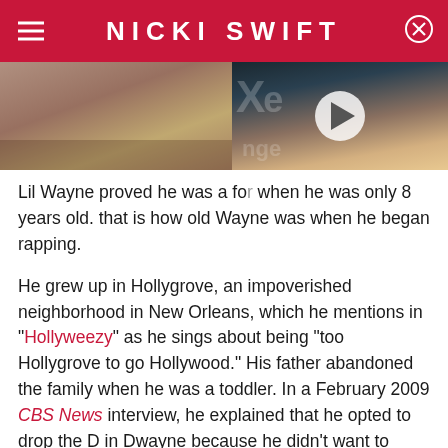NICKI SWIFT
[Figure (photo): Left portion of an image partially obscured by a video thumbnail on the right showing a man in a suit with a play button overlay]
Lil Wayne proved he was a fo[rce to be reckoned with] when he was only 8 years old. [Eight years old—] that is how old Wayne was when he began rapping.
He grew up in Hollygrove, an impoverished neighborhood in New Orleans, which he mentions in "Hollyweezy" as he sings about being "too Hollygrove to go Hollywood." His father abandoned the family when he was a toddler. In a February 2009 CBS News interview, he explained that he opted to drop the D in Dwayne because he didn't want to carry his father's name.